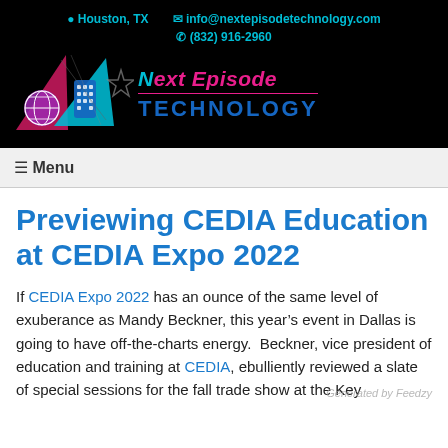Houston, TX   info@nextepisodetechnology.com   (832) 916-2960
[Figure (logo): Next Episode Technology logo with pink triangle, blue triangle, globe icon, and remote control icon on black background, with star decorations]
☰ Menu
Previewing CEDIA Education at CEDIA Expo 2022
If CEDIA Expo 2022 has an ounce of the same level of exuberance as Mandy Beckner, this year's event in Dallas is going to have off-the-charts energy. Beckner, vice president of education and training at CEDIA, ebulliently reviewed a slate of special sessions for the fall trade show at the Key...